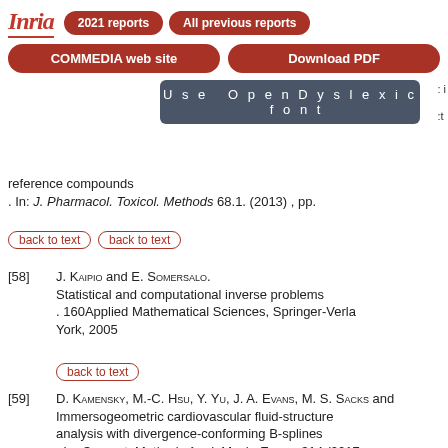Inria — 2021 reports | All previous reports | COMMEDIA web site | Download PDF | Use OpenDyslexic font
reference compounds
. In: J. Pharmacol. Toxicol. Methods 68.1. (2013) , pp.
[58] J. Kaipio and E. Somersalo.
Statistical and computational inverse problems
. 160Applied Mathematical Sciences, Springer-Verlag New York, 2005
[59] D. Kamensky, M.-C. Hsu, Y. Yu, J. A. Evans, M. S. Sacks and ...
Immersogeometric cardiovascular fluid-structure analysis with divergence-conforming B-splines
. In: Comput. Methods Appl. Mech. Engrg. 314 (2017), -472